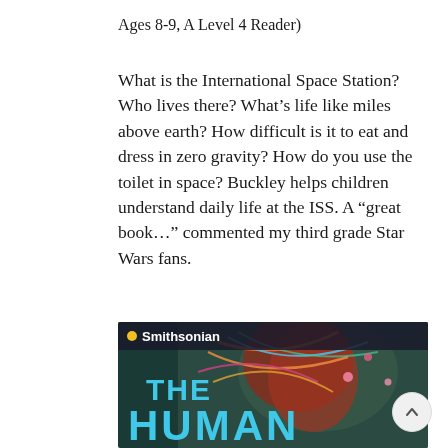Ages 8-9, A Level 4 Reader)
What is the International Space Station? Who lives there? What's life like miles above earth? How difficult is it to eat and dress in zero gravity? How do you use the toilet in space? Buckley helps children understand daily life at the ISS. A “great book…” commented my third grade Star Wars fans.
[Figure (photo): Book cover of 'The Human Body' published by Smithsonian, showing an anatomical illustration with colorful nerves and body systems against a dark background. The title 'THE HUMAN' is displayed in large cyan letters.]